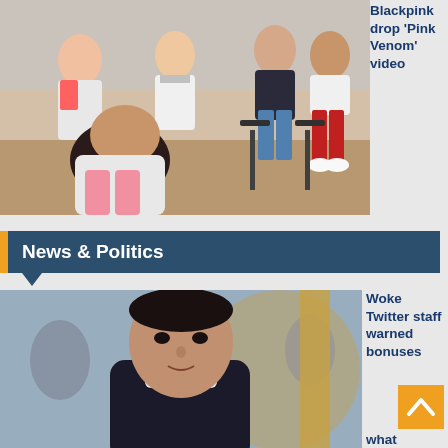[Figure (photo): K-pop group Blackpink members posing together in a rehearsal studio setting, wearing colorful outfits]
Blackpink drop 'Pink Venom' video
News & Politics
[Figure (photo): Man in dark zip-up sweater being interviewed, seated, with blurred background]
Woke Twitter staff warned bonuses
what